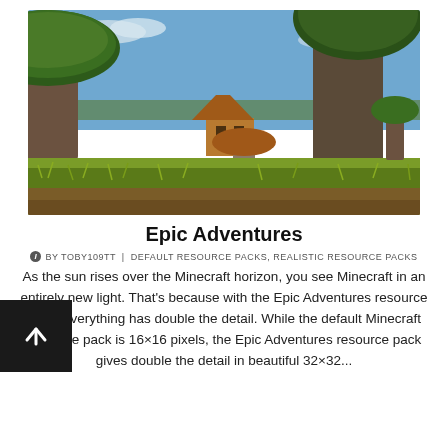[Figure (photo): Minecraft landscape screenshot with realistic shaders showing large mushroom/tree structures with rounded green canopies, a wooden hut, lush green grass and ferns in the foreground, brown earth layers visible, and a blue sky with clouds in the background.]
Epic Adventures
BY TOBY109TT | DEFAULT RESOURCE PACKS, REALISTIC RESOURCE PACKS
As the sun rises over the Minecraft horizon, you see Minecraft in an entirely new light. That's because with the Epic Adventures resource pack, everything has double the detail. While the default Minecraft resource pack is 16×16 pixels, the Epic Adventures resource pack gives double the detail in beautiful 32×32...